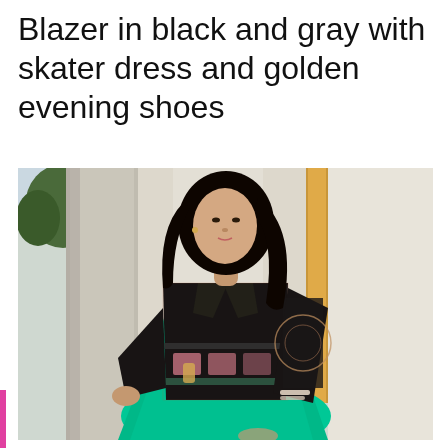Blazer in black and gray with skater dress and golden evening shoes
[Figure (photo): A woman wearing a patterned blazer in black and gray over a bright teal/green skater dress, with long dark hair, photographed outdoors against a light architectural background with golden accents.]